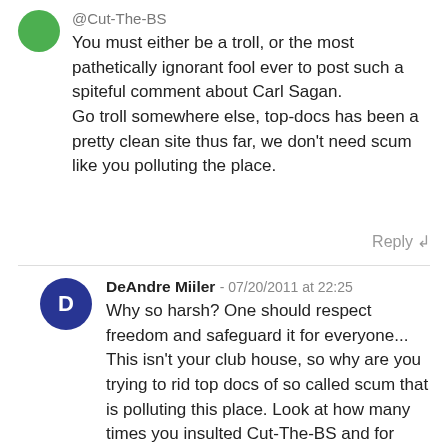@Cut-The-BS
You must either be a troll, or the most pathetically ignorant fool ever to post such a spiteful comment about Carl Sagan.
Go troll somewhere else, top-docs has been a pretty clean site thus far, we don't need scum like you polluting the place.
Reply
DeAndre Miiler - 07/20/2011 at 22:25
Why so harsh? One should respect freedom and safeguard it for everyone... This isn't your club house, so why are you trying to rid top docs of so called scum that is polluting this place. Look at how many times you insulted Cut-The-BS and for what? Speaking his mind, that is all he did. Your going to cut someone down for speaking what they truly believe??? But